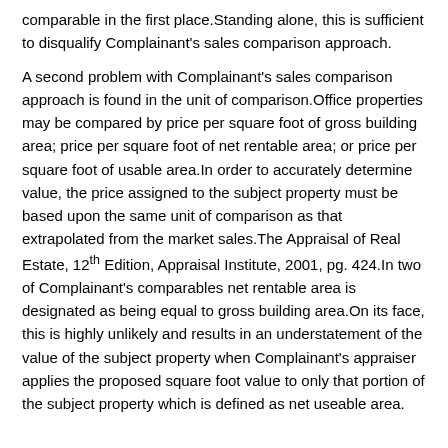comparable in the first place.Standing alone, this is sufficient to disqualify Complainant's sales comparison approach.
A second problem with Complainant's sales comparison approach is found in the unit of comparison.Office properties may be compared by price per square foot of gross building area; price per square foot of net rentable area; or price per square foot of usable area.In order to accurately determine value, the price assigned to the subject property must be based upon the same unit of comparison as that extrapolated from the market sales.The Appraisal of Real Estate, 12th Edition, Appraisal Institute, 2001, pg. 424.In two of Complainant's comparables net rentable area is designated as being equal to gross building area.On its face, this is highly unlikely and results in an understatement of the value of the subject property when Complainant's appraiser applies the proposed square foot value to only that portion of the subject property which is defined as net useable area.